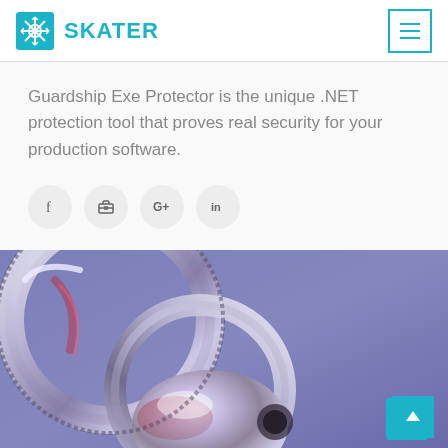SKATER
Guardship Exe Protector is the unique .NET protection tool that proves real security for your production software.
[Figure (other): Row of four circular social media icon buttons: Facebook (f), Briefcase/Tools, Google+ (G+), LinkedIn (in)]
[Figure (photo): Close-up 3D rendered image of shiny chrome metallic key and lock mechanism on a purple/blue gradient background]